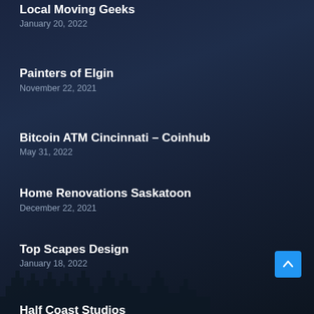Local Moving Geeks
January 20, 2022
Painters of Elgin
November 22, 2021
Bitcoin ATM Cincinnati – Coinhub
May 31, 2022
Home Renovations Saskatoon
December 22, 2021
Top Scapes Design
January 18, 2022
Half Coast Studios
November 19, 2021